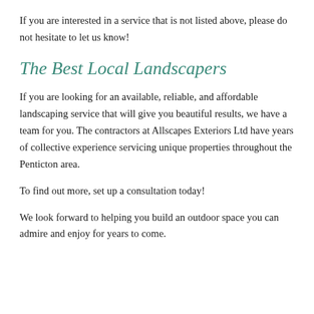If you are interested in a service that is not listed above, please do not hesitate to let us know!
The Best Local Landscapers
If you are looking for an available, reliable, and affordable landscaping service that will give you beautiful results, we have a team for you. The contractors at Allscapes Exteriors Ltd have years of collective experience servicing unique properties throughout the Penticton area.
To find out more, set up a consultation today!
We look forward to helping you build an outdoor space you can admire and enjoy for years to come.